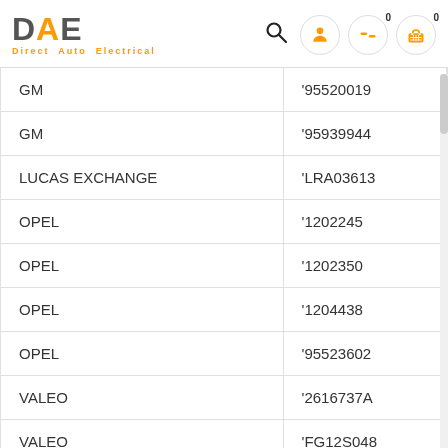DAE Direct Auto Electrical
| Brand | Part Number |
| --- | --- |
| GM | '95520019 |
| GM | '95939944 |
| LUCAS EXCHANGE | 'LRA03613 |
| OPEL | '1202245 |
| OPEL | '1202350 |
| OPEL | '1204438 |
| OPEL | '95523602 |
| VALEO | '2616737A |
| VALEO | 'FG12S048 |
| VALEO | 'FG12S054 |